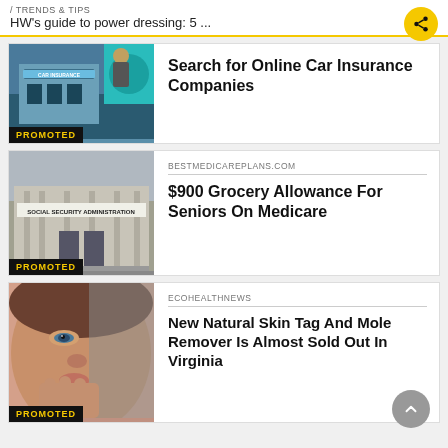/ TRENDS & TIPS
HW's guide to power dressing: 5 ...
[Figure (photo): Car insurance storefront image with 'CAR INSURANCE' sign, PROMOTED label]
Search for Online Car Insurance Companies
[Figure (photo): Social Security Administration building exterior, PROMOTED label]
BESTMEDICAREPLANS.COM
$900 Grocery Allowance For Seniors On Medicare
[Figure (photo): Woman touching her face/cheek closeup, PROMOTED label]
ECOHEALTHNEWS
New Natural Skin Tag And Mole Remover Is Almost Sold Out In Virginia